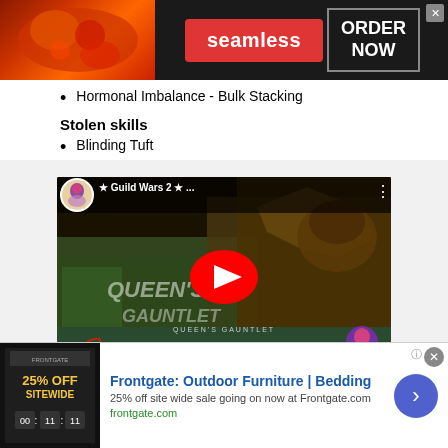[Figure (screenshot): Seamless food delivery advertisement banner with pizza image, red Seamless badge, and ORDER NOW button on dark background]
Hormonal Imbalance - Bulk Stacking
Stolen skills
Blinding Tuft
[Figure (screenshot): YouTube video thumbnail for Guild Wars 2 Queen's Gauntlet video featuring Doobroosh, Tier 1 2nd Opponent]
[Figure (screenshot): Frontgate Outdoor Furniture advertisement: 25% off sitewide sale going on now at Frontgate.com]